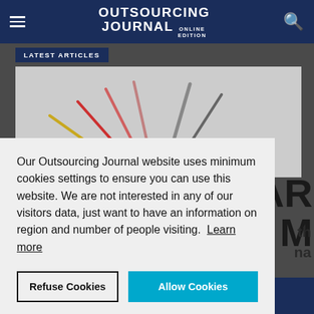OUTSOURCING JOURNAL ONLINE EDITION
LATEST ARTICLES
[Figure (illustration): Partial gauge/speedometer graphic with colored needle lines in yellow, red, pink, and gray on a light gray background]
Our Outsourcing Journal website uses minimum cookies settings to ensure you can use this website. We are not interested in any of our visitors data, just want to have an information on region and number of people visiting. Learn more
Refuse Cookies   Allow Cookies
investments in Kosovo in key...